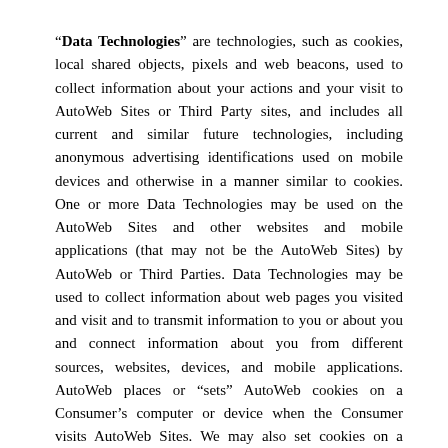“Data Technologies” are technologies, such as cookies, local shared objects, pixels and web beacons, used to collect information about your actions and your visit to AutoWeb Sites or Third Party sites, and includes all current and similar future technologies, including anonymous advertising identifications used on mobile devices and otherwise in a manner similar to cookies. One or more Data Technologies may be used on the AutoWeb Sites and other websites and mobile applications (that may not be the AutoWeb Sites) by AutoWeb or Third Parties. Data Technologies may be used to collect information about web pages you visited and visit and to transmit information to you or about you and connect information about you from different sources, websites, devices, and mobile applications. AutoWeb places or “sets” AutoWeb cookies on a Consumer’s computer or device when the Consumer visits AutoWeb Sites. We may also set cookies on a Consumer’s computer or device on behalf of Third Parties authorized by AutoWeb or may enable certain Third Parties to set their own cookies on the Consumer's computer or device.
AutoWeb uses Third Party tracking services for which AutoWeb sets cookies on your computer or enables the Third Party tracking services to set cookies on your computer or device, when you visit AutoWeb Sites. These cookies track visits, page views and